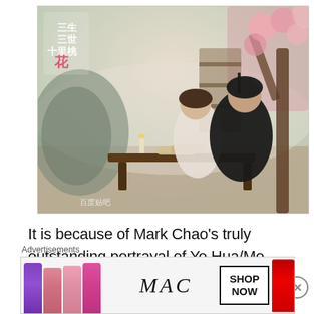[Figure (photo): Promotional still from Chinese drama '三生三世十里桃花' (Eternal Love/Ten Miles of Peach Blossoms). A man in black traditional Chinese robes and a woman in light-colored robes sit together at a low wooden table surrounded by a misty peach blossom setting. Chinese calligraphy title in upper left and Baidu watermark in lower left.]
It is because of Mark Chao's truly outstanding portrayal of Ye Hua/Mo Yuan that the love story was so much more powerful. While I thought Xu Feng and Jin Mi were a great pairing, they could not compete (in my view of
Advertisements
[Figure (photo): MAC Cosmetics advertisement showing colorful lipsticks (purple, pink, coral tones) alongside the MAC logo and a 'SHOP NOW' button, with a red lipstick on the right side.]